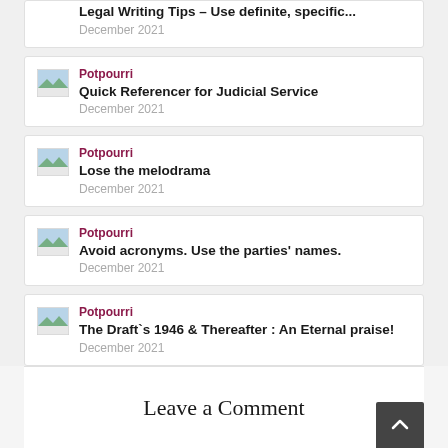Potpourri | Legal Writing Tips – Use definite, specific... | December 2021
Potpourri | Quick Referencer for Judicial Service | December 2021
Potpourri | Lose the melodrama | December 2021
Potpourri | Avoid acronyms. Use the parties' names. | December 2021
Potpourri | The Draft's 1946 & Thereafter : An Eternal praise! | December 2021
Leave a Comment